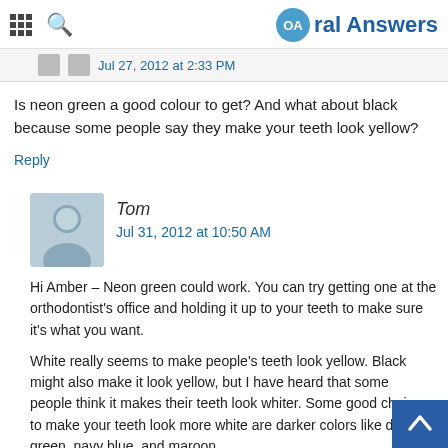Oral Answers
Jul 27, 2012 at 2:33 PM
Is neon green a good colour to get? And what about black because some people say they make your teeth look yellow?
Reply
Tom
Jul 31, 2012 at 10:50 AM
Hi Amber – Neon green could work. You can try getting one at the orthodontist's office and holding it up to your teeth to make sure it's what you want.
White really seems to make people's teeth look yellow. Black might also make it look yellow, but I have heard that some people think it makes their teeth look whiter. Some good choices to make your teeth look more white are darker colors like dark green, navy blue, and maroon.